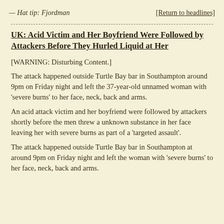— Hat tip: Fjordman     [Return to headlines]
UK: Acid Victim and Her Boyfriend Were Followed by Attackers Before They Hurled Liquid at Her
[WARNING: Disturbing Content.]
The attack happened outside Turtle Bay bar in Southampton around 9pm on Friday night and left the 37-year-old unnamed woman with 'severe burns' to her face, neck, back and arms.
An acid attack victim and her boyfriend were followed by attackers shortly before the men threw a unknown substance in her face leaving her with severe burns as part of a 'targeted assault'.
The attack happened outside Turtle Bay bar in Southampton at around 9pm on Friday night and left the woman with 'severe burns' to her face, neck, back and arms.